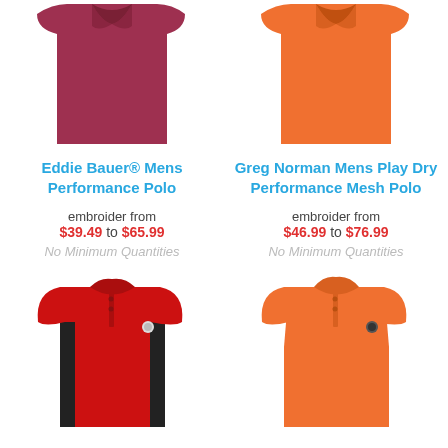[Figure (photo): Maroon/dark red polo shirt, top cropped view]
[Figure (photo): Orange polo shirt, top cropped view]
Eddie Bauer® Mens Performance Polo
Greg Norman Mens Play Dry Performance Mesh Polo
embroider from $39.49 to $65.99
embroider from $46.99 to $76.99
No Minimum Quantities
No Minimum Quantities
[Figure (photo): Red polo shirt with black side panels, full view]
[Figure (photo): Orange polo shirt, full view]